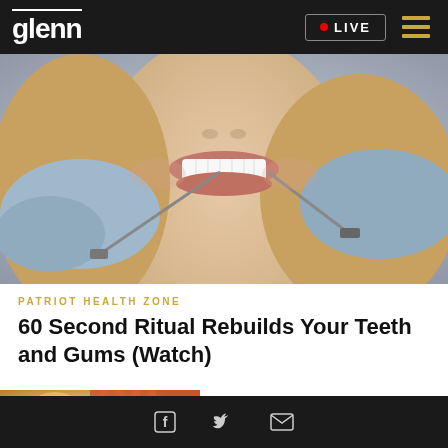glenn  LIVE
[Figure (photo): Close-up of a woman smiling with white teeth, with gloved hands holding dental instruments near her mouth.]
PATRIOT HEALTH ZONE
60 Second Ritual Rebuilds Your Teeth and Gums (Watch)
[Figure (photo): Partial image of a decorative object, cropped at the bottom of the page.]
Facebook  Twitter  Email